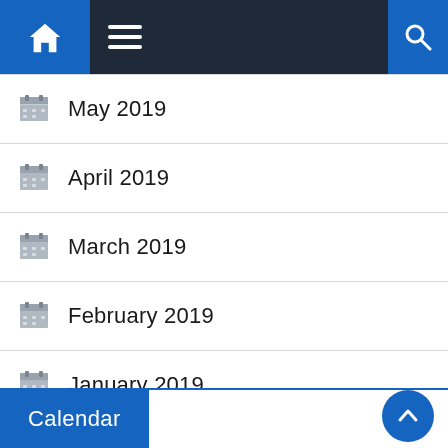Navigation bar with home, menu, and search icons
May 2019
April 2019
March 2019
February 2019
January 2019
December 2018
October 2018
Calendar